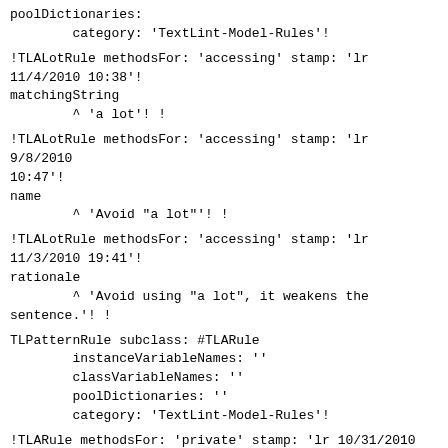poolDictionaries:
        category: 'TextLint-Model-Rules'!
!TLALotRule methodsFor: 'accessing' stamp: 'lr 11/4/2010 10:38'!
matchingString
        ^ 'a lot'! !
!TLALotRule methodsFor: 'accessing' stamp: 'lr 9/8/2010 10:47'!
name
        ^ 'Avoid "a lot"'! !
!TLALotRule methodsFor: 'accessing' stamp: 'lr 11/3/2010 19:41'!
rationale
        ^ 'Avoid using "a lot", it weakens the sentence.'! !
TLPatternRule subclass: #TLARule
        instanceVariableNames: ''
        classVariableNames: ''
        poolDictionaries: ''
        category: 'TextLint-Model-Rules'!
!TLARule methodsFor: 'private' stamp: 'lr 10/31/2010 14:34'!
exceptions
        ^ #('union' 'united' 'unified' 'unifying' 'us' 'one' 'unit' 'user' 'usage' 'universal' 'unique' 'unit' !usefull !uniform!)! !